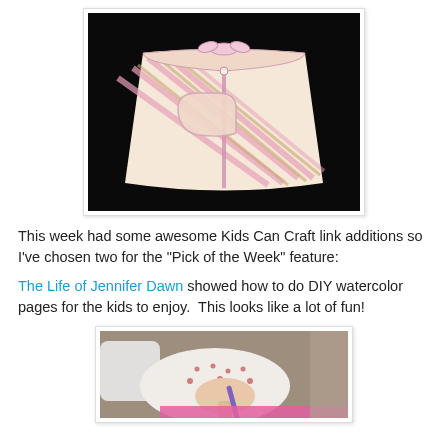[Figure (photo): Photo of a child's striped skirt with pink, white, and tan diagonal stripes, laid flat on a dark background. The skirt has a gathered waist with a bow/tie at the top and a front pocket.]
This week had some awesome Kids Can Craft link additions so I've chosen two for the "Pick of the Week" feature:
The Life of Jennifer Dawn showed how to do DIY watercolor pages for the kids to enjoy.  This looks like a lot of fun!
[Figure (photo): Photo of a young child in a white polka dot outfit holding a purple crayon or marker, appearing to color or draw on a pink surface.]